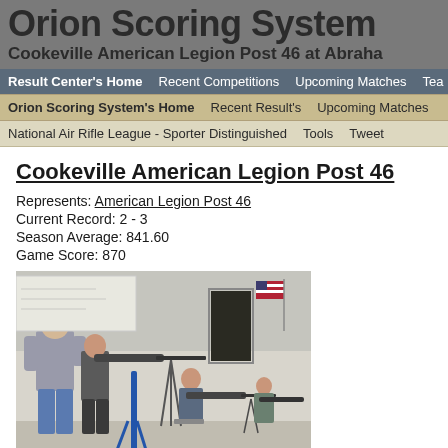Orion Scoring System
Cookeville American Legion Post 46 at Abraha
Result Center's Home | Recent Competitions | Upcoming Matches | Tea
Orion Scoring System's Home | Recent Result's | Upcoming Matches
National Air Rifle League - Sporter Distinguished | Tools | Tweet
Cookeville American Legion Post 46
Represents: American Legion Post 46
Current Record: 2 - 3
Season Average: 841.60
Game Score: 870
[Figure (photo): Photo of youth air rifle shooters at a range, with an instructor standing and several young athletes in shooting positions aiming air rifles mounted on stands. An American flag is visible in the background.]